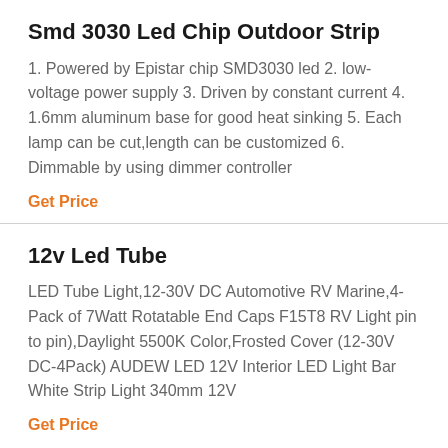Smd 3030 Led Chip Outdoor Strip
1. Powered by Epistar chip SMD3030 led 2. low-voltage power supply 3. Driven by constant current 4. 1.6mm aluminum base for good heat sinking 5. Each lamp can be cut,length can be customized 6. Dimmable by using dimmer controller
Get Price
12v Led Tube
LED Tube Light,12-30V DC Automotive RV Marine,4-Pack of 7Watt Rotatable End Caps F15T8 RV Light pin to pin),Daylight 5500K Color,Frosted Cover (12-30V DC-4Pack) AUDEW LED 12V Interior LED Light Bar White Strip Light 340mm 12V
Get Price